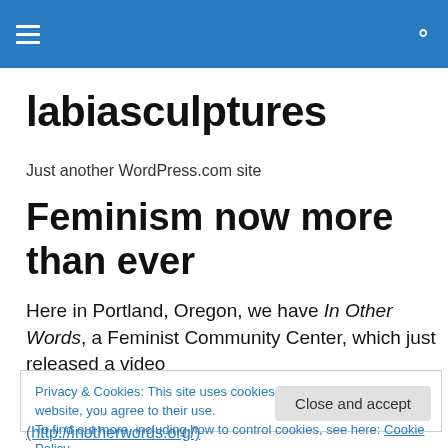labiasculptures — navigation header bar
labiasculptures
Just another WordPress.com site
Feminism now more than ever
Here in Portland, Oregon, we have In Other Words, a Feminist Community Center, which just released a video
Privacy & Cookies: This site uses cookies. By continuing to use this website, you agree to their use.
To find out more, including how to control cookies, see here: Cookie Policy
Close and accept
(http://inotherwords.org/)